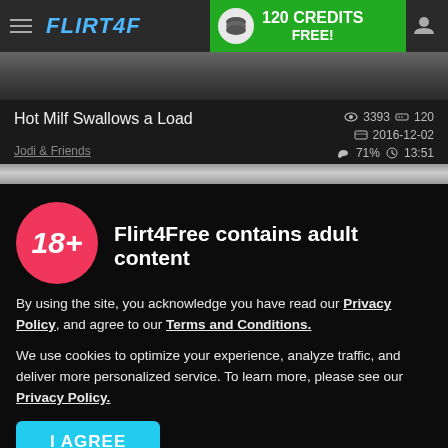[Figure (screenshot): Navigation bar with hamburger menu, Flirt4Free logo, 120 Credits Free green banner, and user icon]
Hot Milf Swallows a Load
3393  ==  120
2016-12-02
71%  13:51
Jodi & Friends
Flirt4Free contains adult content
By using the site, you acknowledge you have read our Privacy Policy, and agree to our Terms and Conditions.
We use cookies to optimize your experience, analyze traffic, and deliver more personalized service. To learn more, please see our Privacy Policy.
I AGREE
Taboo Fetish Mom and Son